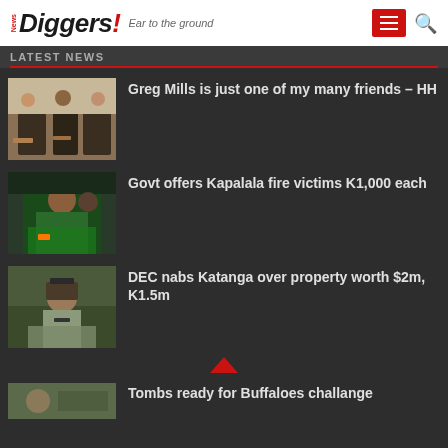News Diggers! Ear to the ground
LATEST NEWS
[Figure (photo): People seated at a meeting indoors]
Greg Mills is just one of my many friends – HH
[Figure (photo): Woman in green outfit at a press conference]
Govt offers Kapalala fire victims K1,000 each
[Figure (photo): Person in uniform outdoors]
DEC nabs Katanga over property worth $2m, K1.5m
[Figure (photo): Partial thumbnail of fourth story]
Tombs ready for Buffaloes challenge